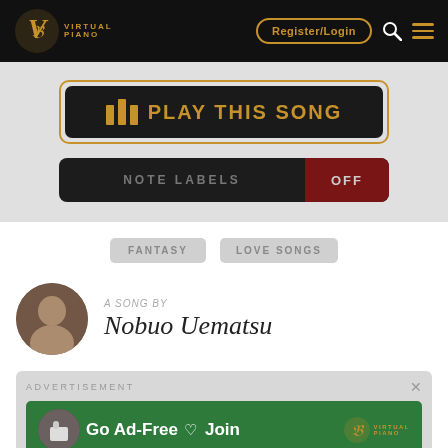Virtual Piano - Register/Login
[Figure (screenshot): Play This Song button with piano icon and orange border]
[Figure (screenshot): Note Labels toggle switch with OFF state in dark red]
FANTASY   LOVE SONGS
A SONG BY
Nobuo Uematsu
[Figure (screenshot): Advertisement banner: Go Ad-Free Join Virtual Piano on green background]